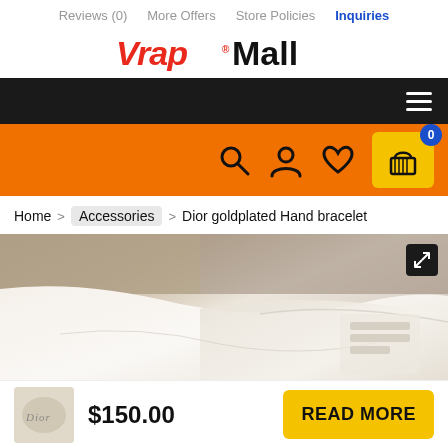Reviews (0)  More Offers  Store Policies  Inquiries
[Figure (logo): VrapMall logo with red italic 'Vrap' and black 'Mall' text]
[Figure (screenshot): Black navigation bar with hamburger menu icon on right]
[Figure (screenshot): Orange toolbar with search, user, heart, and cart icons. Cart shows badge '0'.]
Home > Accessories > Dior goldplated Hand bracelet
[Figure (photo): Close-up photo of a Dior goldplated hand bracelet on a white leather surface with decorative background. Expand icon in top-right corner.]
$150.00
READ MORE